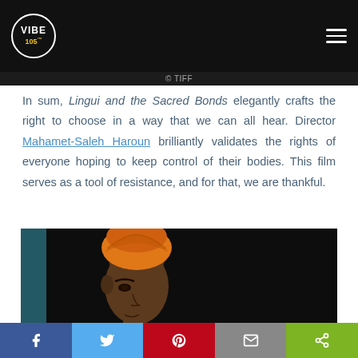VIBE 105 | © TIFF
In sum, Lingui and the Sacred Bonds elegantly crafts the right to choose in a way that we can all hear. Director Mahamet-Saleh Haroun brilliantly validates the rights of everyone hoping to keep control of their bodies. This film serves as a tool of resistance, and for that, we are thankful.
[Figure (photo): A woman wearing an orange headwrap, looking downward, against a dark/black background — still from the film Lingui and the Sacred Bonds.]
Social share bar: Facebook, Twitter, Pinterest, Email, Share